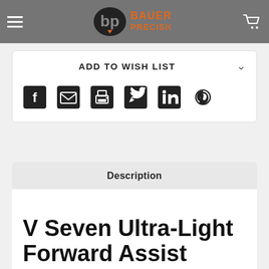Bauer Precision
ADD TO WISH LIST
[Figure (other): Social share icons: Facebook, Email, Print, Twitter, LinkedIn, Pinterest]
Description
V Seven Ultra-Light Forward Assist